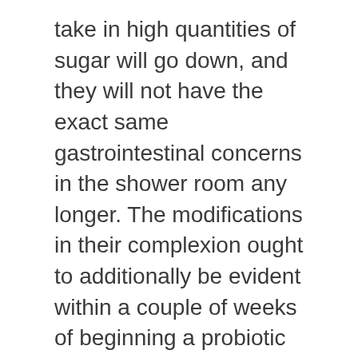take in high quantities of sugar will go down, and they will not have the exact same gastrointestinal concerns in the shower room any longer. The modifications in their complexion ought to additionally be evident within a couple of weeks of beginning a probiotic regimen.
Studies regarding the impact that probiotics can make on fat burning appear that Lactobacillus rhamnosus is the most effective strain to remove additional weight. One recent research showed that women that took probiotics for their diet regimen can lose as much as 50% more weight over three months.